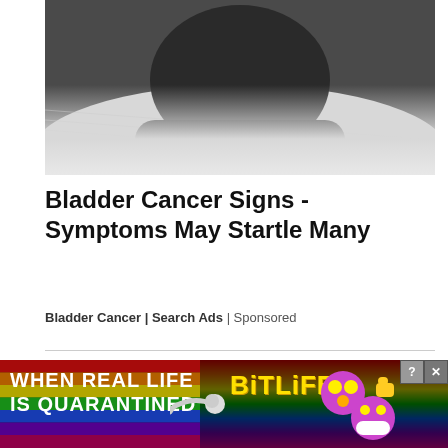[Figure (photo): Close-up photo of a person lying on a pillow, appearing tired or ill, with dark skin and wearing a dark shirt, white pillow/bedding visible]
Bladder Cancer Signs - Symptoms May Startle Many
Bladder Cancer | Search Ads | Sponsored
[Figure (photo): Photo of a severely damaged roof with shingles peeling, curling, and falling off; suburban neighborhood visible in background with trees]
[Figure (screenshot): BitLife mobile game advertisement banner with rainbow background, text 'WHEN REAL LIFE IS QUARANTINED', BitLife logo in yellow, emoji faces, and close/question mark buttons in top right]